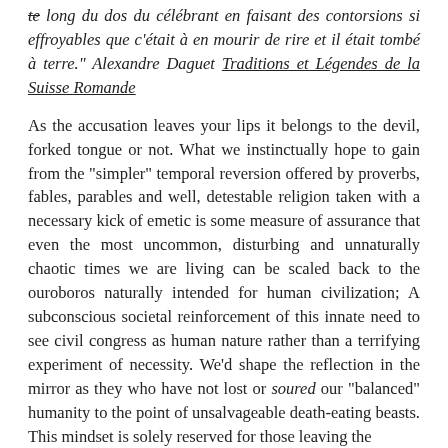te long du dos du célébrant en faisant des contorsions si effroyables que c'était à en mourir de rire et il était tombé à terre." Alexandre Daguet Traditions et Légendes de la Suisse Romande
As the accusation leaves your lips it belongs to the devil, forked tongue or not. What we instinctually hope to gain from the "simpler" temporal reversion offered by proverbs, fables, parables and well, detestable religion taken with a necessary kick of emetic is some measure of assurance that even the most uncommon, disturbing and unnaturally chaotic times we are living can be scaled back to the ouroboros naturally intended for human civilization; A subconscious societal reinforcement of this innate need to see civil congress as human nature rather than a terrifying experiment of necessity. We'd shape the reflection in the mirror as they who have not lost or soured our "balanced" humanity to the point of unsalvageable death-eating beasts. This mindset is solely reserved for those leaving the